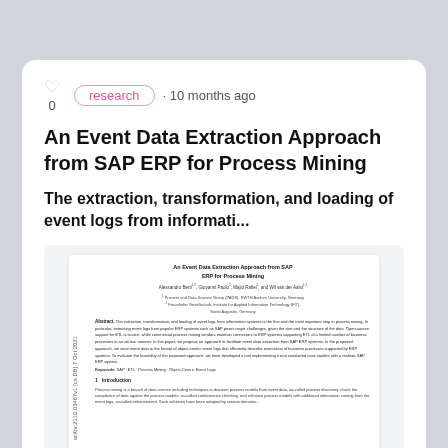research · 10 months ago
An Event Data Extraction Approach from SAP ERP for Process Mining
The extraction, transformation, and loading of event logs from informati...
[Figure (screenshot): Thumbnail of the academic paper 'An Event Data Extraction Approach from SAP ERP for Process Mining' showing title, authors, affiliations, abstract, keywords, and beginning of introduction section.]